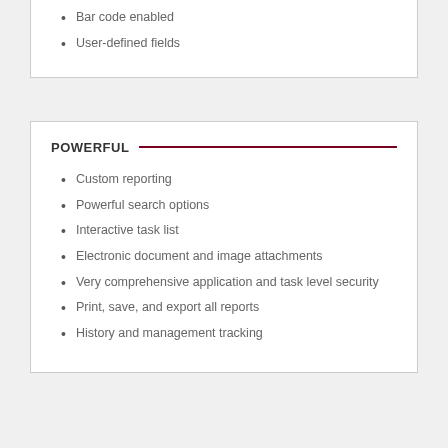Bar code enabled
User-defined fields
POWERFUL
Custom reporting
Powerful search options
Interactive task list
Electronic document and image attachments
Very comprehensive application and task level security
Print, save, and export all reports
History and management tracking